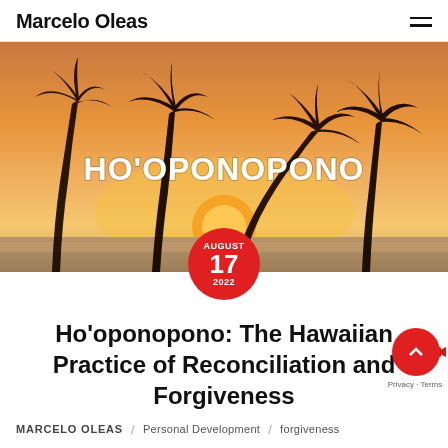Marcelo Oleas
[Figure (photo): Tropical sunset photo with palm tree silhouettes and text overlay reading HO'OPONOPONO in white bold letters, with a red circle date badge showing AUGUST 17 2022]
Ho'oponopono: The Hawaiian Practice of Reconciliation and Forgiveness
MARCELO OLEAS / Personal Development / forgiveness